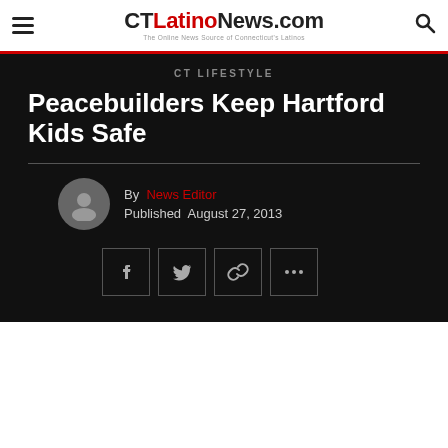CT Latino News.com — The Online News Source of Connecticut's Latinos
CT LIFESTYLE
Peacebuilders Keep Hartford Kids Safe
By News Editor
Published August 27, 2013